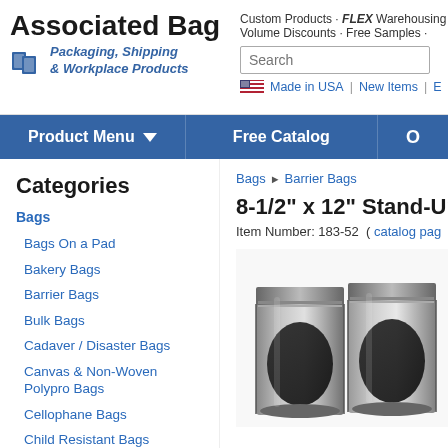[Figure (logo): Associated Bag company logo with blue box icon and tagline 'Packaging, Shipping & Workplace Products' in italic blue text]
Custom Products · FLEX Warehousing · Volume Discounts · Free Samples ·
Search
Made in USA | New Items | E
Product Menu ▼
Free Catalog
O
Categories
Bags
Bags On a Pad
Bakery Bags
Barrier Bags
Bulk Bags
Cadaver / Disaster Bags
Canvas & Non-Woven Polypro Bags
Cellophane Bags
Child Resistant Bags
Bags ▶ Barrier Bags
8-1/2" x 12" Stand-Up Me
Item Number: 183-52  ( catalog pag
[Figure (photo): Two silver metallic stand-up mylar barrier bags with ziplock tops shown side by side]